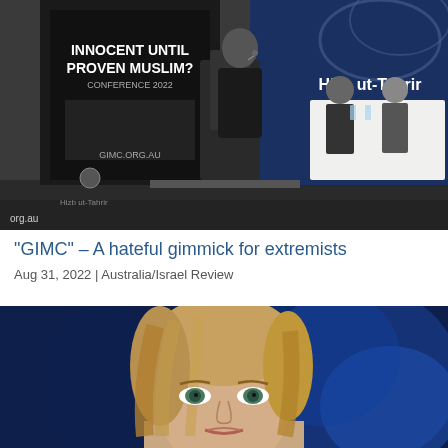[Figure (photo): A man in a dark suit speaking at a podium on a stage. Behind him are banners reading 'INNOCENT UNTIL PROVEN MUSLIM? CONFERENCE 2022' and 'Hizb ut-Tahrir Australia'. The GIMC.ORG.AU logo is visible. Other men are seated at a table to the right.]
“GIMC” – A hateful gimmick for extremists
Aug 31, 2022 | Australia/Israel Review
[Figure (photo): Close-up portrait of a blonde woman with blue eyes against a blurred blue background, photographed from slightly below face level.]